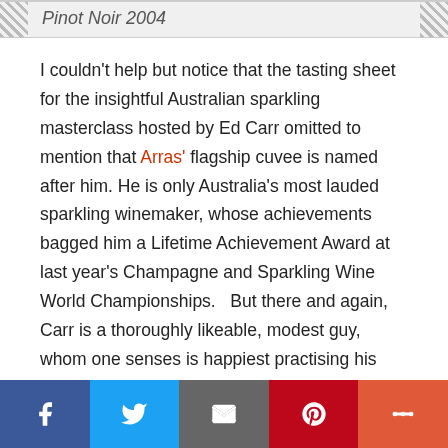Pinot Noir 2004
I couldn't help but notice that the tasting sheet for the insightful Australian sparkling masterclass hosted by Ed Carr omitted to mention that Arras' flagship cuvee is named after him. He is only Australia's most lauded sparkling winemaker, whose achievements bagged him a Lifetime Achievement Award at last year's Champagne and Sparkling Wine World Championships.   But there and again, Carr is a thoroughly likeable, modest guy, whom one senses is happiest practising his craft. True to type, this late disgorged fizz from a cool year has plenty of pizzazz. Both train tracks and locomotive, a rapier-like, firm backbone of steely breakfast grapefruit acidity drives
Facebook Twitter Email Pinterest More